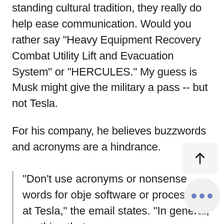standing cultural tradition, they really do help ease communication. Would you rather say "Heavy Equipment Recovery Combat Utility Lift and Evacuation System" or "HERCULES." My guess is Musk might give the military a pass -- but not Tesla.
For his company, he believes buzzwords and acronyms are a hindrance.
"Don't use acronyms or nonsense words for objects, software or processes at Tesla," the email states. "In general, anything that requires an explanation...